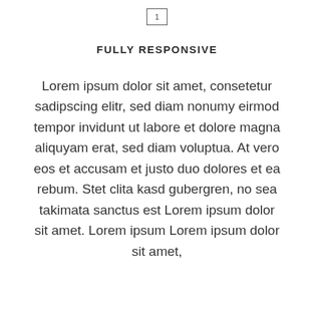1
FULLY RESPONSIVE
Lorem ipsum dolor sit amet, consetetur sadipscing elitr, sed diam nonumy eirmod tempor invidunt ut labore et dolore magna aliquyam erat, sed diam voluptua. At vero eos et accusam et justo duo dolores et ea rebum. Stet clita kasd gubergren, no sea takimata sanctus est Lorem ipsum dolor sit amet. Lorem ipsum Lorem ipsum dolor sit amet,